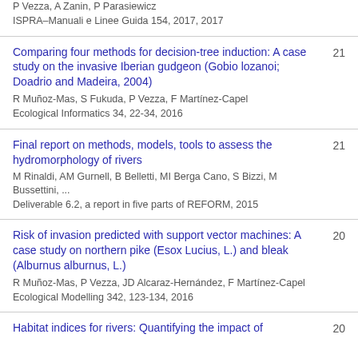P Vezza, A Zanin, P Parasiewicz
ISPRA–Manuali e Linee Guida 154, 2017, 2017
Comparing four methods for decision-tree induction: A case study on the invasive Iberian gudgeon (Gobio lozanoi; Doadrio and Madeira, 2004)
R Muñoz-Mas, S Fukuda, P Vezza, F Martínez-Capel
Ecological Informatics 34, 22-34, 2016
21
Final report on methods, models, tools to assess the hydromorphology of rivers
M Rinaldi, AM Gurnell, B Belletti, MI Berga Cano, S Bizzi, M Bussettini, ...
Deliverable 6.2, a report in five parts of REFORM, 2015
21
Risk of invasion predicted with support vector machines: A case study on northern pike (Esox Lucius, L.) and bleak (Alburnus alburnus, L.)
R Muñoz-Mas, P Vezza, JD Alcaraz-Hernández, F Martínez-Capel
Ecological Modelling 342, 123-134, 2016
20
Habitat indices for rivers: Quantifying the impact of
20